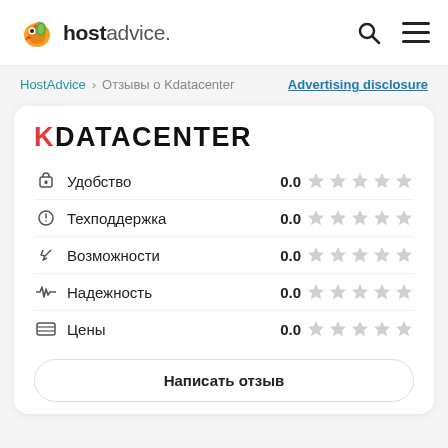hostadvice. [search icon] [menu icon]
HostAdvice > Отзывы о Kdatacenter   Advertising disclosure
KDATACENTER
Удобство  0.0 ★★★★★
Техподдержка  0.0 ★★★★★
Возможности  0.0 ★★★★★
Надежность  0.0 ★★★★★
Цены  0.0 ★★★★★
Написать отзыв